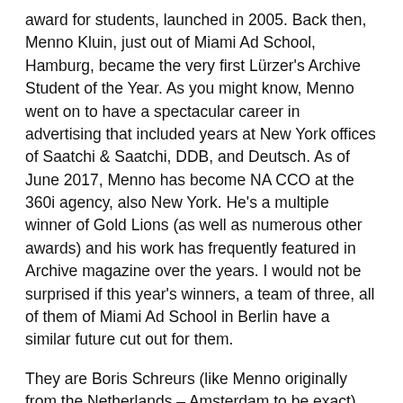award for students, launched in 2005. Back then, Menno Kluin, just out of Miami Ad School, Hamburg, became the very first Lürzer's Archive Student of the Year. As you might know, Menno went on to have a spectacular career in advertising that included years at New York offices of Saatchi & Saatchi, DDB, and Deutsch. As of June 2017, Menno has become NA CCO at the 360i agency, also New York. He's a multiple winner of Gold Lions (as well as numerous other awards) and his work has frequently featured in Archive magazine over the years. I would not be surprised if this year's winners, a team of three, all of them of Miami Ad School in Berlin have a similar future cut out for them.
They are Boris Schreurs (like Menno originally from the Netherlands – Amsterdam to be exact), Stefanie Berkmann, and Davide Pietro Cocchiara. Their instructor was Florian Weitzel of Miami Ad School Berlin. All of them are soon-to-be graduates of Miami Ad School, Berlin. Awards, however, are nothing new to them. The campaign